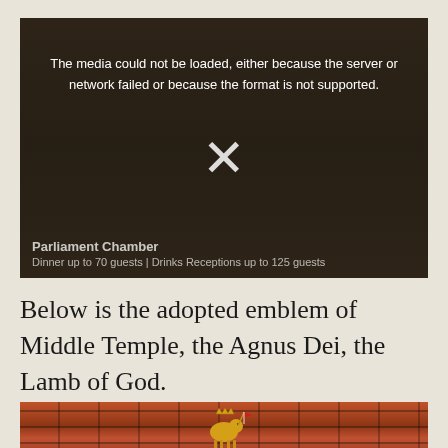[Figure (photo): Video placeholder showing a darkened image of a Parliament Chamber dining room with long tables and chairs. A media error message reads 'The media could not be loaded, either because the server or network failed or because the format is not supported.' with an X symbol. Caption at bottom: 'Parliament Chamber — Dinner up to 70 guests | Drinks Receptions up to 125 guests']
Below is the adopted emblem of Middle Temple, the Agnus Dei, the Lamb of God.
[Figure (photo): Photo of a golden Agnus Dei (Lamb of God) figurine or sculpture mounted on a red brick wall, with a small flag. The lamb appears gilded/gold colored.]